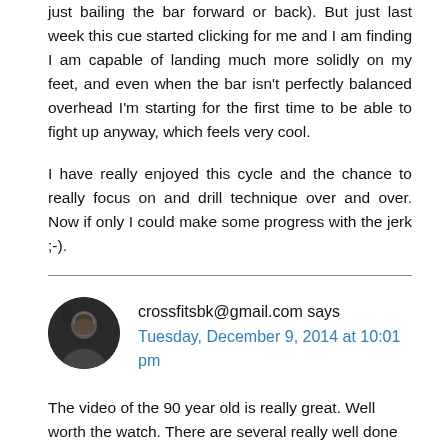just bailing the bar forward or back). But just last week this cue started clicking for me and I am finding I am capable of landing much more solidly on my feet, and even when the bar isn't perfectly balanced overhead I'm starting for the first time to be able to fight up anyway, which feels very cool.
I have really enjoyed this cycle and the chance to really focus on and drill technique over and over. Now if only I could make some progress with the jerk ;-).
crossfitsbk@gmail.com says Tuesday, December 9, 2014 at 10:01 pm
The video of the 90 year old is really great. Well worth the watch. There are several really well done mini docs on that